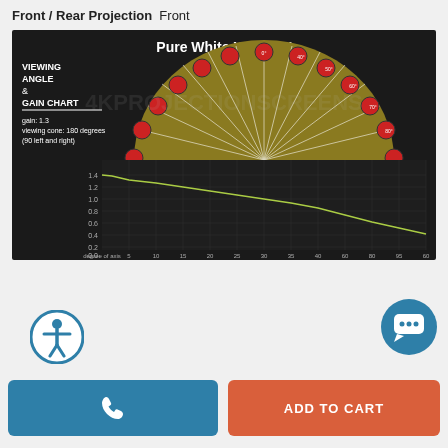Front / Rear Projection  Front
[Figure (infographic): Viewing Angle & Gain Chart for Pure White XT1300V screen material. Shows a semicircular diagram with red viewing angle markers and a gain curve chart below showing gain values from 0.0 to 1.4 across degrees of axis from 0 to 60. Gain: 1.3, viewing cone: 180 degrees (90 left and right). Background has watermark text '4KPROJECTIONSCREENS.com'.]
[Figure (other): Accessibility icon - circular button with person/wheelchair accessibility symbol in blue and white]
[Figure (other): Chat button - blue circular button with speech bubble/chat icon in white]